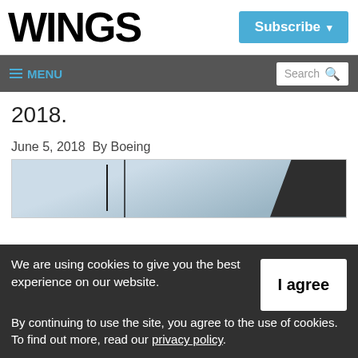WINGS
Subscribe ▾
≡ MENU
Search
2018.
June 5, 2018  By Boeing
[Figure (photo): Photo of aviation/aerospace equipment in a facility]
We are using cookies to give you the best experience on our website. By continuing to use the site, you agree to the use of cookies. To find out more, read our privacy policy.
I agree